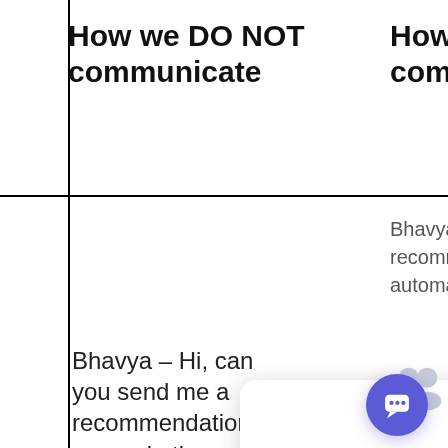How we DO NOT communicate
How DO W communicate
Bhavya – Hi ca recommenda automation t es re
Review 4. 5. H ck
[Figure (screenshot): Chat popup overlay with people icon, close X button, and text: 'Got any questions? I'm happy to help.']
Bhavya – Hi, can you send me a recommendation on marketing automation tools